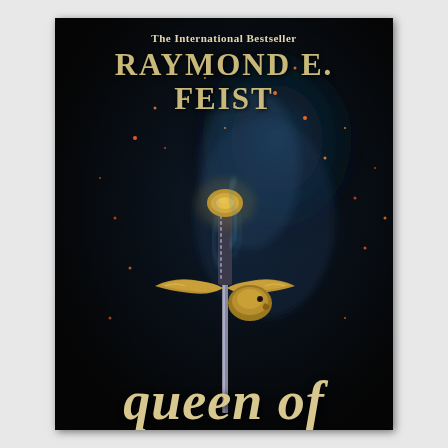The International Bestseller
RAYMOND E. FEIST
[Figure (illustration): Book cover of 'Queen of' by Raymond E. Feist. Dark black background with glowing embers and blue magical smoke. Center features an ornate gold sword hilt with detailed engravings and guard shaped like an eagle or bird. Sparks and mystical blue mist surround the weapon.]
queen of